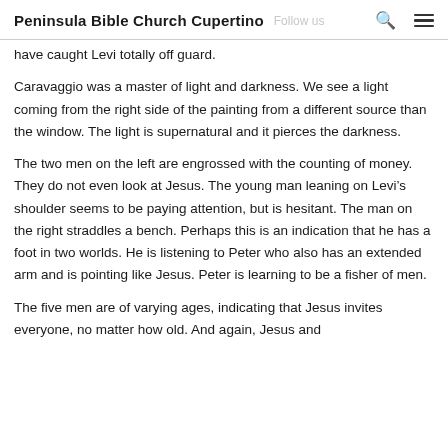Peninsula Bible Church Cupertino
have caught Levi totally off guard.
Caravaggio was a master of light and darkness. We see a light coming from the right side of the painting from a different source than the window. The light is supernatural and it pierces the darkness.
The two men on the left are engrossed with the counting of money. They do not even look at Jesus. The young man leaning on Levi’s shoulder seems to be paying attention, but is hesitant. The man on the right straddles a bench. Perhaps this is an indication that he has a foot in two worlds. He is listening to Peter who also has an extended arm and is pointing like Jesus. Peter is learning to be a fisher of men.
The five men are of varying ages, indicating that Jesus invites everyone, no matter how old. And again, Jesus and